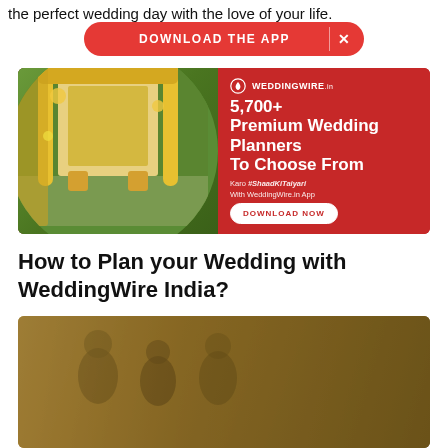the perfect wedding day with the love of your life.
[Figure (screenshot): Red pill-shaped Download the App button with X close button on right]
[Figure (infographic): WeddingWire.in advertisement banner showing a decorated wedding mandap on the left and on the right: 5,700+ Premium Wedding Planners To Choose From. Karo #ShaadKiTaiyari With WeddingWire.in App. DOWNLOAD NOW button.]
How to Plan your Wedding with WeddingWire India?
[Figure (screenshot): Chat window with a wedding couple in the background. A chat bubble says: Hi! I'm Simran, your (totally free) wedding planning assistant. Would you like me to help you find venues... A circular avatar of a woman in red is shown at the bottom right with a notification badge showing 1.]